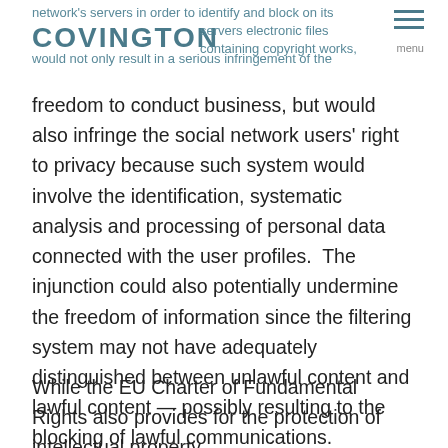network's servers in order to identify and block on its servers electronic files containing copyright works, would not only result in a serious infringement of the
freedom to conduct business, but would also infringe the social network users' right to privacy because such system would involve the identification, systematic analysis and processing of personal data connected with the user profiles.  The injunction could also potentially undermine the freedom of information since the filtering system may not have adequately distinguished between unlawful content and lawful content — possibly resulting to the blocking of lawful communications.
While the EU Charter of Fundamental Rights also provides for the protection of intellectual property